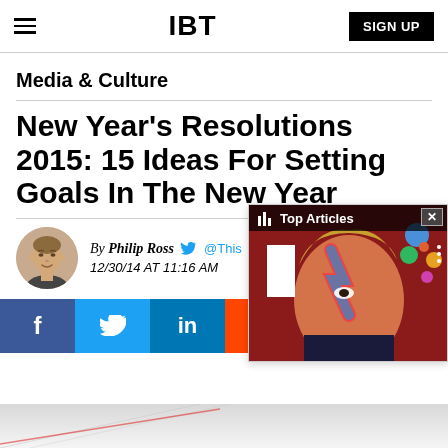IBT | SIGN UP
Media & Culture
New Year's Resolutions 2015: 15 Ideas For Setting Goals In The New Year
By Philip Ross @This... 12/30/14 AT 11:16 AM
[Figure (screenshot): Social sharing buttons: Facebook, Twitter, LinkedIn, Reddit, Flipboard, Email]
[Figure (screenshot): Popup overlay showing Top Articles with a David Bowie painting image]